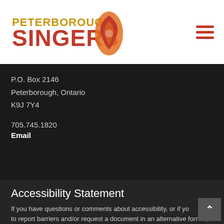Peterborough Singers
P.O. Box 2146
Peterborough, Ontario
K9J 7Y4
705.745.1820
Email
Accessibility Statement
If you have questions or comments about accessibility, or if you need to report barriers and/or request a document in an alternative format, please contact the Peterborough Singers administrative office...